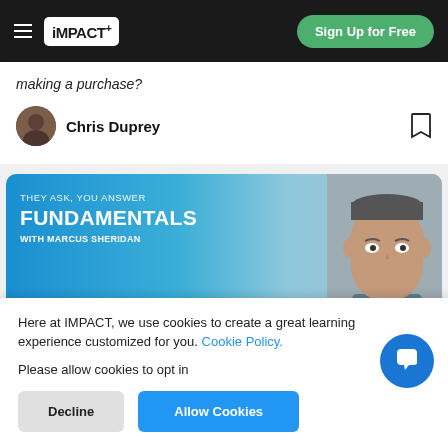iMPACT+ Sign Up for Free
making a purchase?
Chris Duprey
[Figure (illustration): Blue gradient banner with text: THEY ASK, YOU ANSWER FUNDAMENTALS WITH MARCUS SHERIDAN, with a man's face on the right side]
Here at IMPACT, we use cookies to create a great learning experience customized for you. Cookie Policy.
Please allow cookies to opt in
Decline
Allow Cookies